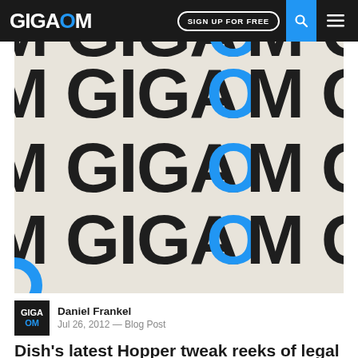GIGAOM
[Figure (photo): Repeating GIGAOM logo pattern with blue O letters on cream/off-white background, shown at an angle, used as hero image for article]
Daniel Frankel
Jul 26, 2012 — Blog Post
Dish's latest Hopper tweak reeks of legal positioning